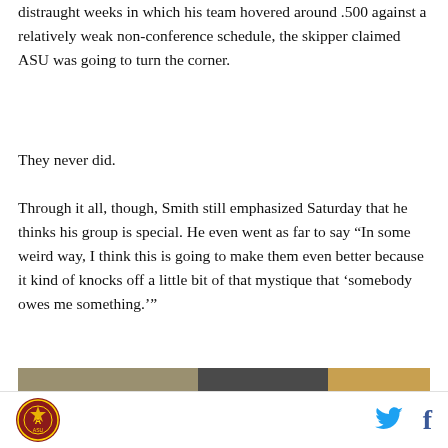distraught weeks in which his team hovered around .500 against a relatively weak non-conference schedule, the skipper claimed ASU was going to turn the corner.
They never did.
Through it all, though, Smith still emphasized Saturday that he thinks his group is special. He even went as far to say “In some weird way, I think this is going to make them even better because it kind of knocks off a little bit of that mystique that ‘somebody owes me something.’”
[Figure (photo): Partial photo showing a person, appears to be a sports-related image with dark and tan tones]
ASU logo icon | Twitter share | Facebook share